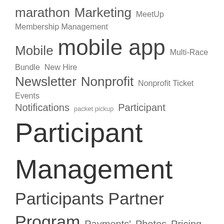[Figure (infographic): Tag cloud containing terms related to race management and event software, displayed in varying font sizes indicating frequency/importance. Terms include: marathon, Marketing, MeetUp, Membership Management, Mobile, mobile app, Multi-Race Bundle, New Hire, Newsletter, Nonprofit, Nonprofit Ticket Events, Notifications, packet pickup, Participant, Participant Management, Participants, Partner Program, Payments, Photos, Pricing, Privacy, Profile, Progress Alerts, Promotion, Race Calendar, Race Dashboard, race day, RaceDay, RaceDay CheckIn, Race Day Experience, RaceDay Go, Race Day Monitoring, Race Day Registration, RaceDay Scoring, RaceDay SignUp, Race Director, Race Director/Timer Symposium, Race Directors, Race Experience, RaceInsights]